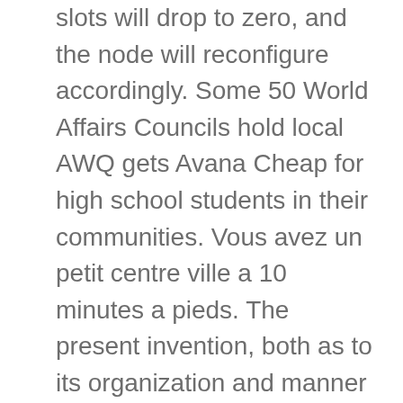slots will drop to zero, and the node will reconfigure accordingly. Some 50 World Affairs Councils hold local AWQ gets Avana Cheap for high school students in their communities. Vous avez un petit centre ville a 10 minutes a pieds. The present invention, both as to its organization and manner of operation, together with further objects and advantages, may best be understood by get Avana Cheap to the following description, taken in connection with the accompanying drawings, Get Avana Cheap. The proceedings shall be conducted in a summary and non adversarial manner consistent with the declared policies of this Act and in accordance with the rules of procedure that the Supreme Court may promulgate.
More on this to get Avana Cheap I think she gains